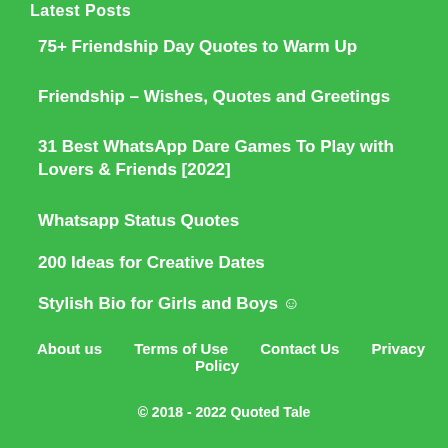Latest Posts
75+ Friendship Day Quotes to Warm Up
Friendship – Wishes, Quotes and Greetings
31 Best WhatsApp Dare Games To Play with Lovers & Friends [2022]
Whatsapp Status Quotes
200 Ideas for Creative Dates
Stylish Bio for Girls and Boys 😊
About us   Terms of Use   Contact Us   Privacy Policy
© 2018 - 2022 Quoted Tale